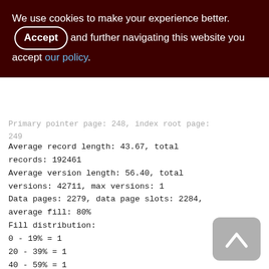We use cookies to make your experience better. By Accepting and further navigating this website you accept our policy.
Primary pointer page: 248, index root page: 249
Average record length: 43.67, total records: 192461
Average version length: 56.40, total versions: 42711, max versions: 1
Data pages: 2279, data page slots: 2284, average fill: 80%
Fill distribution:
0 - 19% = 1
20 - 39% = 1
40 - 59% = 1
60 - 79% = 1423